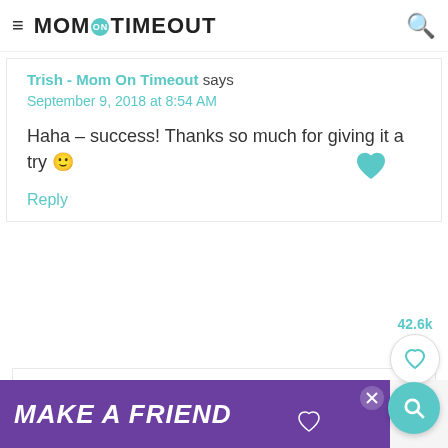Mom On Timeout
Trish - Mom On Timeout says
September 9, 2018 at 8:54 AM
Haha – success! Thanks so much for giving it a try 🙂
Reply
42.6k
Shannon says
MAKE A FRIEND